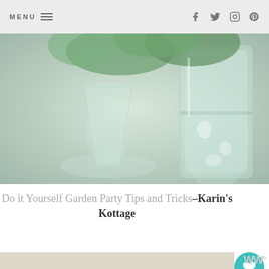MENU  [hamburger icon]  [facebook]  [twitter]  [instagram]  [pinterest]
[Figure (photo): Close-up of glass jars and a margarita glass filled with water and green herb sprigs on a white surface]
Do it Yourself Garden Party Tips and Tricks-Karin's Kottage
[Figure (photo): Overhead view of grilled or roasted leeks/fennel in a bowl next to a folded linen napkin with herb sprigs]
[Figure (photo): What's Next thumbnail: small house illustration for 'All About Home Link...']
WHAT'S NEXT → All About Home Link...
You can help hungry kids.  NO KID HUNGRY  LEARN HOW